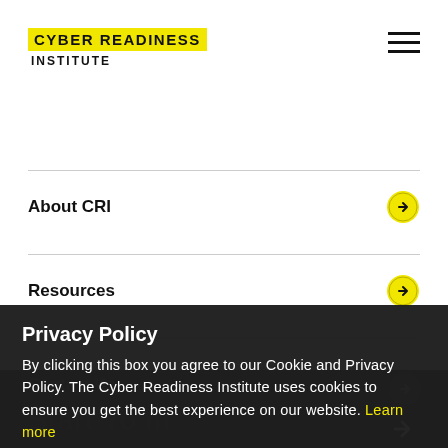CYBER READINESS INSTITUTE
About CRI
Resources
Contact Us
Privacy Policy
By clicking this box you agree to our Cookie and Privacy Policy. The Cyber Readiness Institute uses cookies to ensure you get the best experience on our website. Learn more
Accept
Start Your Program